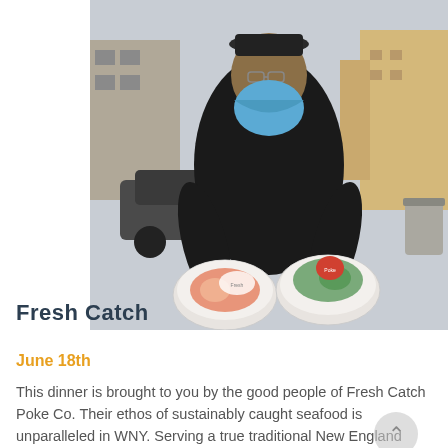[Figure (photo): A man wearing a black jacket and blue face covering/bandana holding two poke bowls with clear lids, wearing blue gloves, standing outdoors in front of parked cars and buildings.]
Fresh Catch
June 18th
This dinner is brought to you by the good people of Fresh Catch Poke Co. Their ethos of sustainably caught seafood is unparalleled in WNY. Serving a true traditional New England lobster bake, each guest will receive